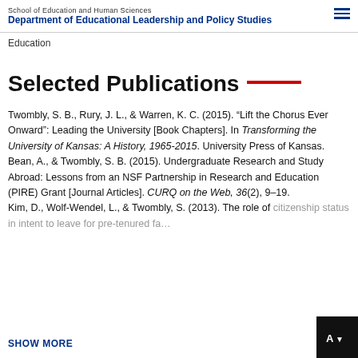School of Education and Human Sciences
Department of Educational Leadership and Policy Studies
Education
Selected Publications
Twombly, S. B., Rury, J. L., & Warren, K. C. (2015). “Lift the Chorus Ever Onward”: Leading the University [Book Chapters]. In Transforming the University of Kansas: A History, 1965-2015. University Press of Kansas.
Bean, A., & Twombly, S. B. (2015). Undergraduate Research and Study Abroad: Lessons from an NSF Partnership in Research and Education (PIRE) Grant [Journal Articles]. CURQ on the Web, 36(2), 9–19.
Kim, D., Wolf-Wendel, L., & Twombly, S. (2013). The role of citizenship status in intent to leave for pre-tenured fa…
SHOW MORE